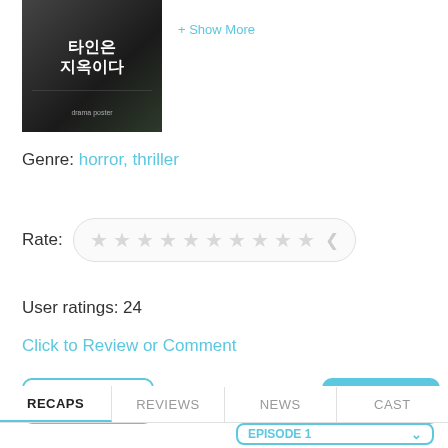[Figure (photo): Korean drama poster with dark background and Korean text]
+ Show More
Genre: horror, thriller
Rate: [10 empty stars]
User ratings: 24
Click to Review or Comment
SHARE
Favorite ♥
RECAPS | REVIEWS | NEWS | CAST
EPISODE 1